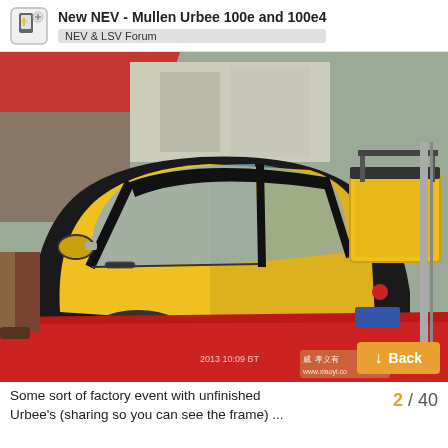New NEV - Mullen Urbee 100e and 100e4 | NEV & LSV Forum
[Figure (photo): A small yellow and black electric vehicle (NEV/LSV) on display at what appears to be a factory or outdoor event. The vehicle has a rounded compact body, transparent windshield, side mirror, and small wheels. A yellow cargo box is visible on the back. Red carpet is on the ground. A watermark reads '2013 10:09 BT' and 'www.xiayi.co' in the lower right corner.]
Some sort of factory event with unfinished Urbee's (sharing so you can see the frame) ...
2 / 40